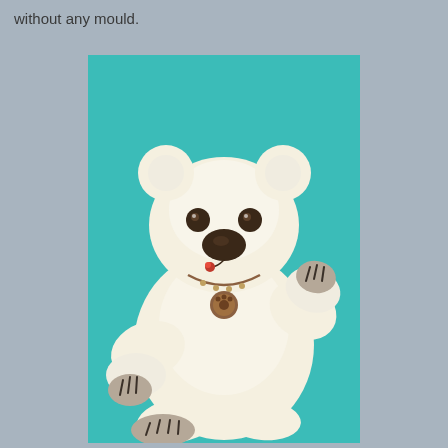without any mould.
[Figure (photo): A white fluffy teddy bear with a dark brown nose, dark eyes, and paw pads with dark claws. The bear is wearing a small medallion necklace and is posed sitting against a teal/turquoise background.]